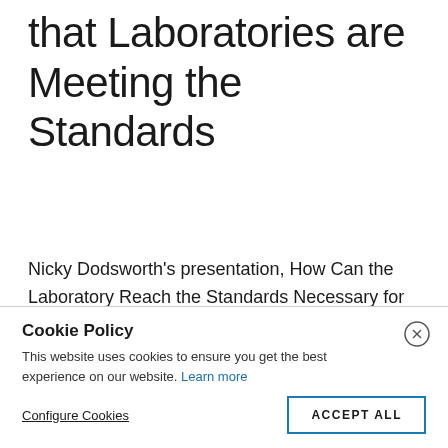that Laboratories are Meeting the Standards
Nicky Dodsworth's presentation, How Can the Laboratory Reach the Standards Necessary for Research, describes how these facilities can apply good clinical laboratory practices to demonstrate that their work meets the quality, reliability, confidentiality, and integrity standards for audit research.
Cookie Policy
This website uses cookies to ensure you get the best experience on our website. Learn more
Configure Cookies    ACCEPT ALL